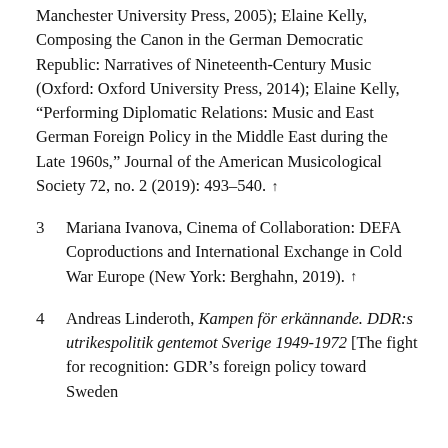Manchester University Press, 2005); Elaine Kelly, Composing the Canon in the German Democratic Republic: Narratives of Nineteenth-Century Music (Oxford: Oxford University Press, 2014); Elaine Kelly, “Performing Diplomatic Relations: Music and East German Foreign Policy in the Middle East during the Late 1960s,” Journal of the American Musicological Society 72, no. 2 (2019): 493–540. ↑
3 Mariana Ivanova, Cinema of Collaboration: DEFA Coproductions and International Exchange in Cold War Europe (New York: Berghahn, 2019). ↑
4 Andreas Linderoth, Kampen för erkännande. DDR:s utrikespolitik gentemot Sverige 1949–1972 [The fight for recognition: GDR’s foreign policy toward Sweden